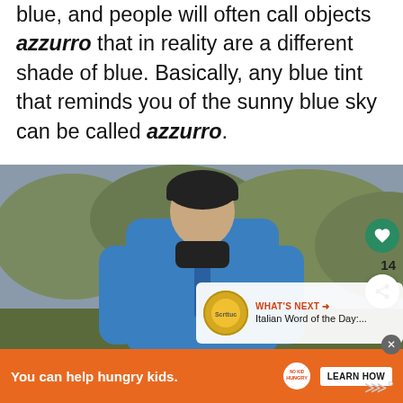blue, and people will often call objects azzurro that in reality are a different shade of blue. Basically, any blue tint that reminds you of the sunny blue sky can be called azzurro.
[Figure (photo): A man wearing a black beanie hat and a bright blue jacket standing outdoors with trees and a blue-grey sky in the background. UI overlays show a heart button, share button with count 14, and a 'What's Next' card for Italian Word of the Day.]
[Figure (screenshot): Ad banner at bottom: orange background with text 'You can help hungry kids.' with No Kid Hungry logo and a 'LEARN HOW' button.]